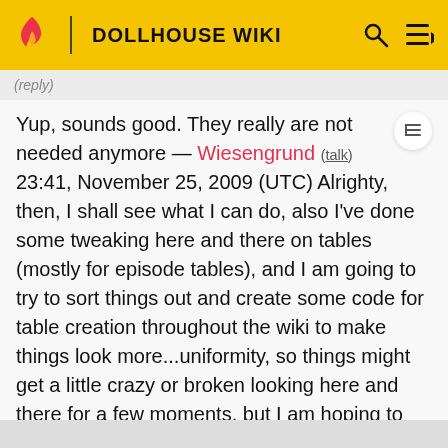DOLLHOUSE WIKI
Yup, sounds good. They really are not needed anymore — Wiesengrund (talk) 23:41, November 25, 2009 (UTC) Alrighty, then, I shall see what I can do, also I've done some tweaking here and there on tables (mostly for episode tables), and I am going to try to sort things out and create some code for table creation throughout the wiki to make things look more...uniformity, so things might get a little crazy or broken looking here and there for a few moments, but I am hoping to contain that as much as possible. (PS, I did the switch over for the list of episodes on the page, I can still figure out more obvious divisors if needed) --Terran Officer 23:46, November 25, 2009 (UTC)